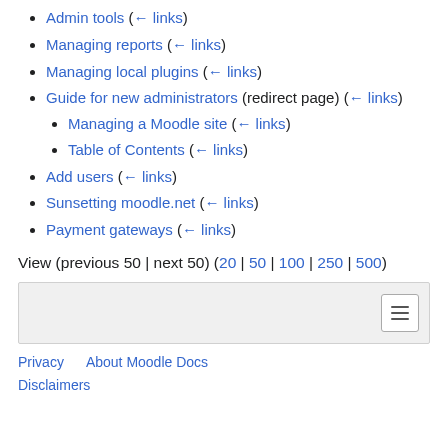Admin tools  (← links)
Managing reports  (← links)
Managing local plugins  (← links)
Guide for new administrators (redirect page)  (← links)
  • Managing a Moodle site  (← links)
  • Table of Contents  (← links)
Add users  (← links)
Sunsetting moodle.net  (← links)
Payment gateways  (← links)
View (previous 50 | next 50) (20 | 50 | 100 | 250 | 500)
[Figure (other): Navigation toolbar box with hamburger menu icon]
Privacy   About Moodle Docs
Disclaimers